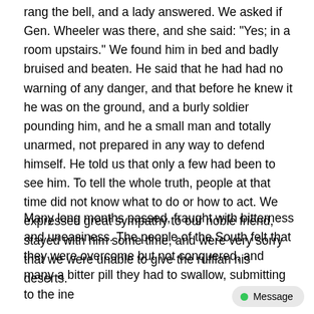rang the bell, and a lady answered. We asked if Gen. Wheeler was there, and she said: "Yes; in a room upstairs." We found him in bed and badly bruised and beaten. He said that he had had no warning of any danger, and that before he knew it he was on the ground, and a burly soldier pounding him, and he a small man and totally unarmed, not prepared in any way to defend himself. He told us that only a few had been to see him. To tell the whole truth, people at that time did not know what to do or how to act. We expressed great sympathy to our noble friend, stayed with him some time, and were very sorry that we were unable to give the ruffian his deserts.
Many long months passed, fraught with bitterness and uneasiness. The people of the South felt that they were overcome but not conquered, and many a bitter pill they had to swallow, submitting to the ine